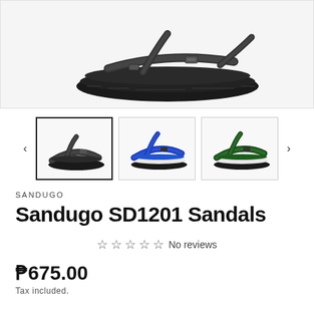[Figure (photo): Close-up top-down view of a black Sandugo SD1201 sports sandal showing straps and sole]
[Figure (photo): Thumbnail: black Sandugo sandal side view (selected)]
[Figure (photo): Thumbnail: blue Sandugo sandal side view]
[Figure (photo): Thumbnail: green Sandugo sandal side view]
SANDUGO
Sandugo SD1201 Sandals
☆ ☆ ☆ ☆ ☆ No reviews
₱675.00
Tax included.